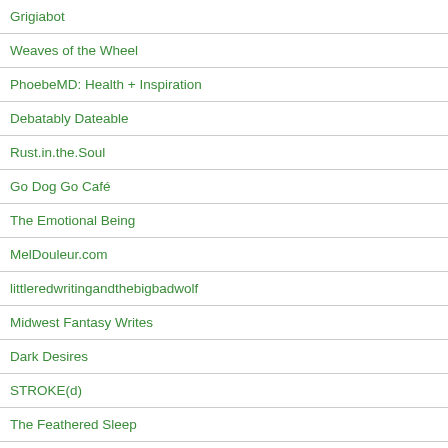Grigiabot
Weaves of the Wheel
PhoebeMD: Health + Inspiration
Debatably Dateable
Rust.in.the.Soul
Go Dog Go Café
The Emotional Being
MelDouleur.com
littleredwritingandthebigbadwolf
Midwest Fantasy Writes
Dark Desires
STROKE(d)
The Feathered Sleep